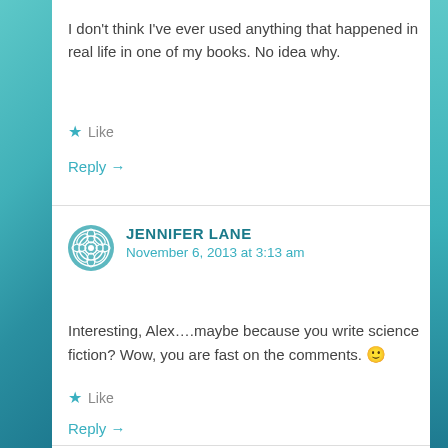I don't think I've ever used anything that happened in real life in one of my books. No idea why.
★ Like
Reply →
JENNIFER LANE
November 6, 2013 at 3:13 am
Interesting, Alex….maybe because you write science fiction? Wow, you are fast on the comments. 🙂
★ Like
Reply →